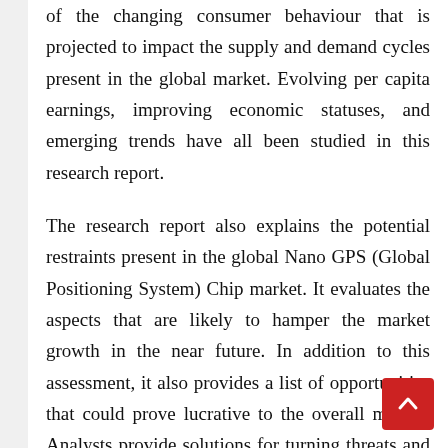of the changing consumer behaviour that is projected to impact the supply and demand cycles present in the global market. Evolving per capita earnings, improving economic statuses, and emerging trends have all been studied in this research report.
The research report also explains the potential restraints present in the global Nano GPS (Global Positioning System) Chip market. It evaluates the aspects that are likely to hamper the market growth in the near future. In addition to this assessment, it also provides a list of opportunities that could prove lucrative to the overall market. Analysts provide solutions for turning threats and restraints into successful